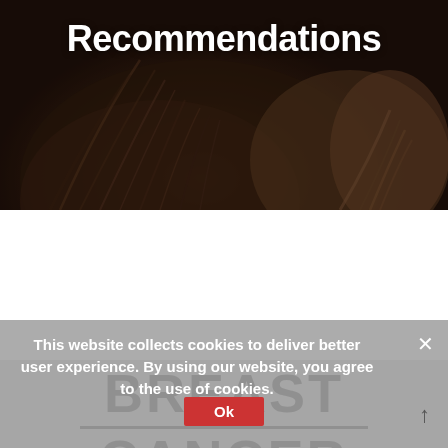[Figure (photo): Dark background photo showing close-up of people's hair from behind, with a dark overlay]
Recommendations
[Figure (screenshot): Cookie consent banner overlay with text: 'This website collects cookies to deliver better user experience. By using our website, you agree to the use of cookies.' with an Ok button and X close button]
This website collects cookies to deliver better user experience. By using our website, you agree to the use of cookies.
[Figure (photo): Partial view of a 'BREAST CANCER' graphic/logo with large bold text and a horizontal dividing line between the two words]